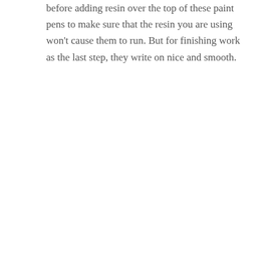before adding resin over the top of these paint pens to make sure that the resin you are using won't cause them to run. But for finishing work as the last step, they write on nice and smooth.